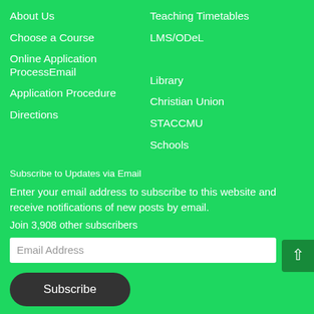About Us
Teaching Timetables
Choose a Course
LMS/ODeL
Online Application ProcessEmail
Application Procedure
Library
Directions
Christian Union
STACCMU
Schools
Subscribe to Updates via Email
Enter your email address to subscribe to this website and receive notifications of new posts by email.
Join 3,908 other subscribers
Email Address
Subscribe